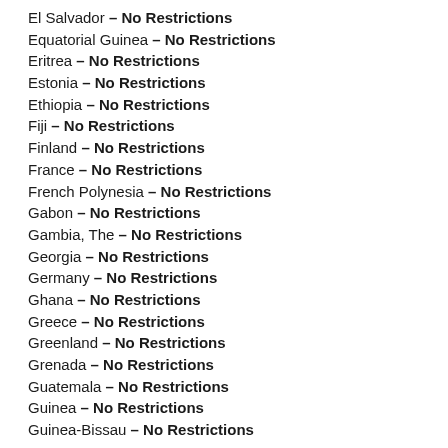El Salvador – No Restrictions
Equatorial Guinea – No Restrictions
Eritrea – No Restrictions
Estonia – No Restrictions
Ethiopia – No Restrictions
Fiji – No Restrictions
Finland – No Restrictions
France – No Restrictions
French Polynesia – No Restrictions
Gabon – No Restrictions
Gambia, The – No Restrictions
Georgia – No Restrictions
Germany – No Restrictions
Ghana – No Restrictions
Greece – No Restrictions
Greenland – No Restrictions
Grenada – No Restrictions
Guatemala – No Restrictions
Guinea – No Restrictions
Guinea-Bissau – No Restrictions